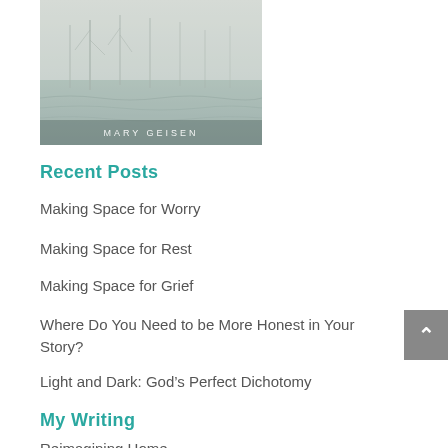[Figure (photo): Book cover showing a misty, foggy landscape with bare trees and turbulent water. Text 'MARY GEISEN' appears at the bottom of the image in light lettering.]
Recent Posts
Making Space for Worry
Making Space for Rest
Making Space for Grief
Where Do You Need to be More Honest in Your Story?
Light and Dark: God’s Perfect Dichotomy
My Writing
Reimagining Home